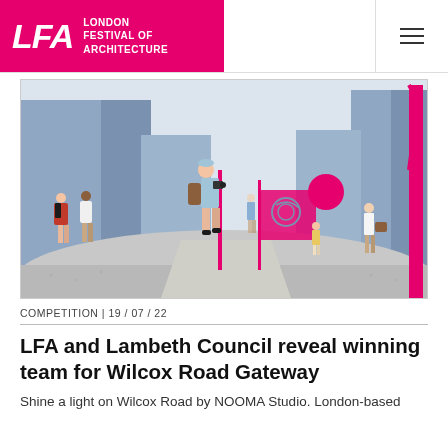LFA LONDON FESTIVAL OF ARCHITECTURE
[Figure (illustration): Architectural illustration of an urban street scene with pedestrians walking along a wide pathway flanked by large blue building facades and pink sculptural installations. People in the foreground are photographing and walking, with a pink sphere and abstract pink art installation visible in the background.]
COMPETITION | 19 / 07 / 22
LFA and Lambeth Council reveal winning team for Wilcox Road Gateway
Shine a light on Wilcox Road by NOOMA Studio. London-based